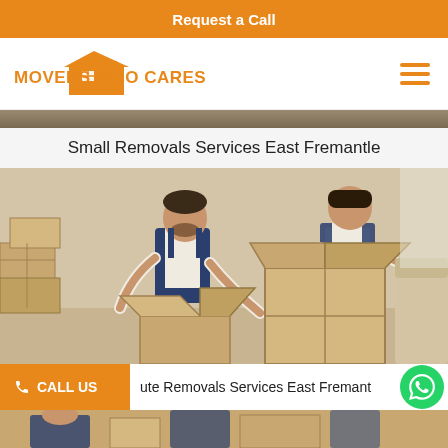Request a Call
[Figure (logo): Movers Who Cares logo with orange house icon and text]
Small Removals Services East Fremantle
[Figure (photo): Two movers in blue overalls packing cardboard boxes in a room with a beige sofa]
ute Removals Services East Fremant
[Figure (photo): Partial bottom image of movers, cropped]